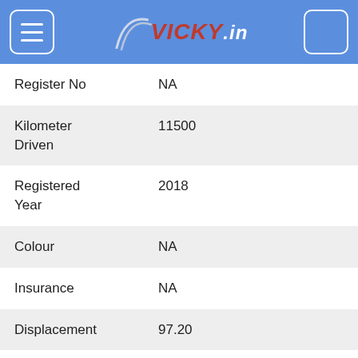vicky.in
| Field | Value |
| --- | --- |
| Register No | NA |
| Kilometer Driven | 11500 |
| Registered Year | 2018 |
| Colour | NA |
| Insurance | NA |
| Displacement | 97.20 |
| Engine Type | Air-cooled | 4-stroke | Single cylinder | OHC engine |